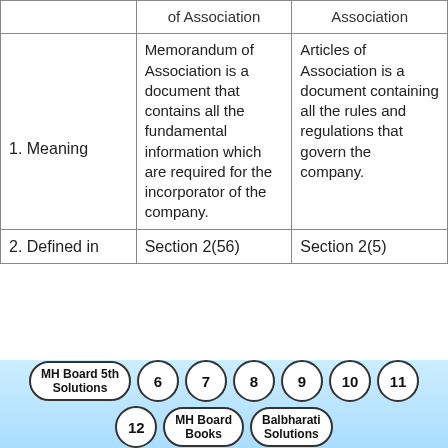|  | Memorandum of Association | Articles of Association |
| --- | --- | --- |
| 1. Meaning | Memorandum of Association is a document that contains all the fundamental information which are required for the incorporator of the company. | Articles of Association is a document containing all the rules and regulations that govern the company. |
| 2. Defined in | Section 2(56) | Section 2(5) |
MH Board 5th Solutions | 6 | 7 | 8 | 9 | 10 | 11 | 12 | MH Board Books | Balbharati Solutions